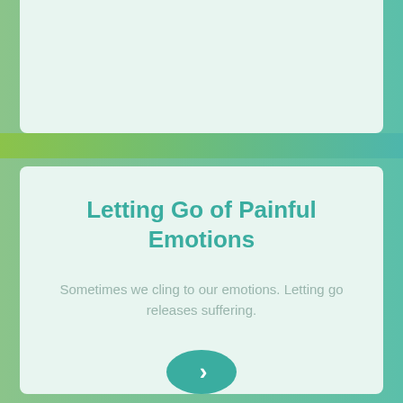Letting Go of Painful Emotions
Sometimes we cling to our emotions. Letting go releases suffering.
[Figure (other): A teal circular button with a right-facing chevron arrow, used as a navigation element.]